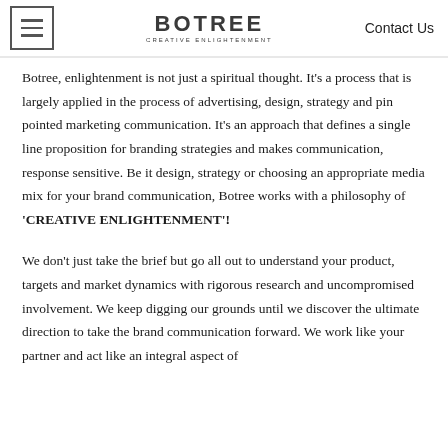BOTREE | Creative Enlightenment | Contact Us
Botree, enlightenment is not just a spiritual thought. It's a process that is largely applied in the process of advertising, design, strategy and pin pointed marketing communication. It's an approach that defines a single line proposition for branding strategies and makes communication, response sensitive. Be it design, strategy or choosing an appropriate media mix for your brand communication, Botree works with a philosophy of 'CREATIVE ENLIGHTENMENT'!
We don't just take the brief but go all out to understand your product, targets and market dynamics with rigorous research and uncompromised involvement. We keep digging our grounds until we discover the ultimate direction to take the brand communication forward. We work like your partner and act like an integral aspect of